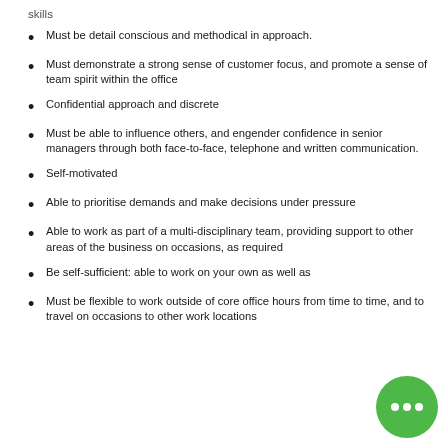skills
Must be detail conscious and methodical in approach.
Must demonstrate a strong sense of customer focus, and promote a sense of team spirit within the office
Confidential approach and discrete
Must be able to influence others, and engender confidence in senior managers through both face-to-face, telephone and written communication.
Self-motivated
Able to prioritise demands and make decisions under pressure
Able to work as part of a multi-disciplinary team, providing support to other areas of the business on occasions, as required
Be self-sufficient: able to work on your own as well as
Must be flexible to work outside of core office hours from time to time, and to travel on occasions to other work locations